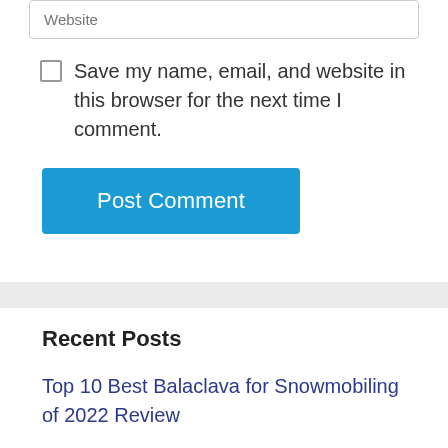Website
Save my name, email, and website in this browser for the next time I comment.
Post Comment
Recent Posts
Top 10 Best Balaclava for Snowmobiling of 2022 Review